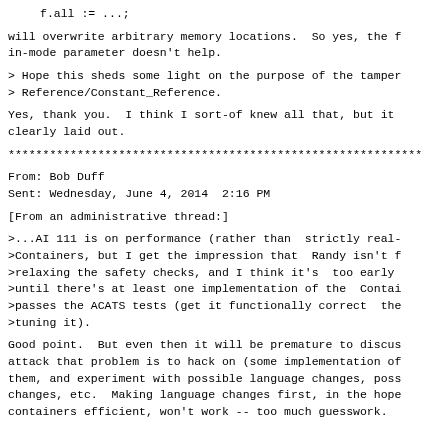f.all := ...;
will overwrite arbitrary memory locations.  So yes, the f
in-mode parameter doesn't help.
> Hope this sheds some light on the purpose of the tamper
> Reference/Constant_Reference.
Yes, thank you.  I think I sort-of knew all that, but it
clearly laid out.
************************************************************
From: Bob Duff
Sent: Wednesday, June 4, 2014  2:16 PM
[From an administrative thread:]
>...AI 111 is on performance (rather than  strictly real-
>Containers, but I get the impression that  Randy isn't f
>relaxing the safety checks, and I think it's  too early
>until there's at least one implementation of the  Contai
>passes the ACATS tests (get it functionally correct  the
>tuning it).
Good point.  But even then it will be premature to discus
attack that problem is to hack on (some implementation of
them, and experiment with possible language changes, poss
changes, etc.  Making language changes first, in the hope
containers efficient, won't work -- too much guesswork.